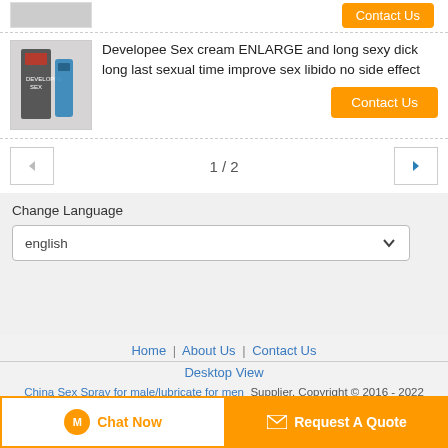[Figure (photo): Product image placeholder at top (partially visible)]
Contact Us
[Figure (photo): Developee Sex cream product image]
Developee Sex cream ENLARGE and long sexy dick long last sexual time improve sex libido no side effect
Contact Us
1 / 2
Change Language
english
Home | About Us | Contact Us
Desktop View
China Sex Spray for male/lubricate for men Supplier. Copyright © 2016 - 2022 greatworldbuy.com.
Chat Now
Request A Quote